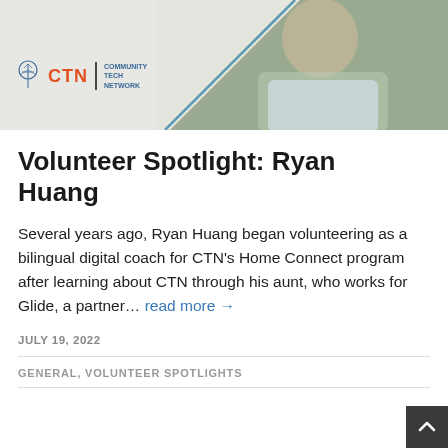[Figure (photo): Hero image showing Ryan Huang with CTN (Community Tech Network) logo overlay on a diagonal white/grey background panel]
Volunteer Spotlight: Ryan Huang
Several years ago, Ryan Huang began volunteering as a bilingual digital coach for CTN's Home Connect program after learning about CTN through his aunt, who works for Glide, a partner… read more →
JULY 19, 2022
GENERAL, VOLUNTEER SPOTLIGHTS